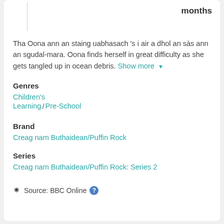months
Tha Oona ann an staing uabhasach 's i air a dhol an sàs ann an sgudal-mara. Oona finds herself in great difficulty as she gets tangled up in ocean debris. Show more ▼
Genres
Children's
Learning /Pre-School
Brand
Creag nam Buthaidean/Puffin Rock
Series
Creag nam Buthaidean/Puffin Rock: Series 2
Source: BBC Online ?